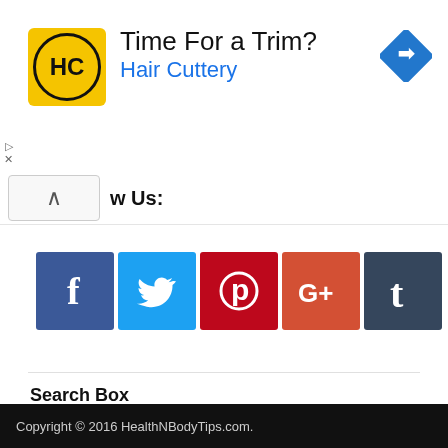[Figure (screenshot): Hair Cuttery advertisement banner with yellow HC logo, text 'Time For a Trim?' and 'Hair Cuttery' in blue, and a blue navigation diamond icon on the right]
w Us:
[Figure (infographic): Social media share buttons row: Facebook (blue), Twitter (cyan), Pinterest (red), Google+ (orange-red), Tumblr (dark blue)]
Search Box
[Figure (screenshot): Google enhanced search box with search icon button]
Copyright © 2016 HealthNBodyTips.com.